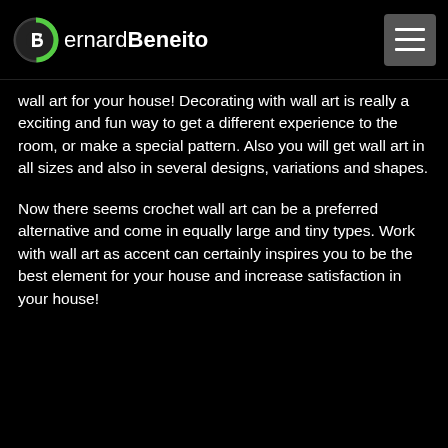BernardBeneito
wall art for your house! Decorating with wall art is really a exciting and fun way to get a different experience to the room, or make a special pattern. Also you will get wall art in all sizes and also in several designs, variations and shapes.
Now there seems crochet wall art can be a preferred alternative and come in equally large and tiny types. Work with wall art as accent can certainly inspires you to be the best element for your house and increase satisfaction in your house!